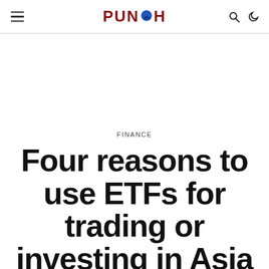PUNCH
FINANCE
Four reasons to use ETFs for trading or investing in Asia